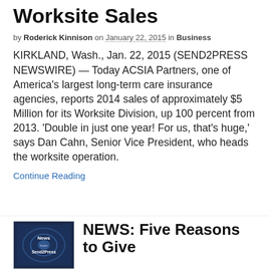Worksite Sales
by Roderick Kinnison on January 22, 2015 in Business
KIRKLAND, Wash., Jan. 22, 2015 (SEND2PRESS NEWSWIRE) — Today ACSIA Partners, one of America's largest long-term care insurance agencies, reports 2014 sales of approximately $5 Million for its Worksite Division, up 100 percent from 2013. 'Double in just one year! For us, that's huge,' says Dan Cahn, Senior Vice President, who heads the worksite operation.
Continue Reading
NEWS: Five Reasons to Give